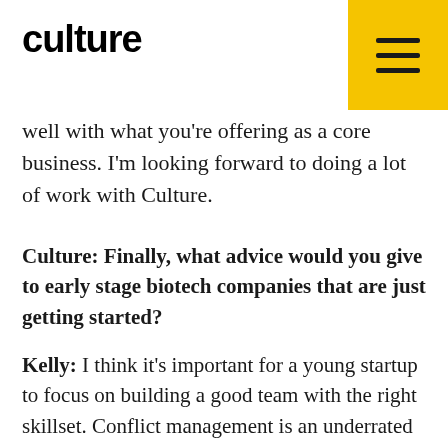culture
well with what you're offering as a core business. I'm looking forward to doing a lot of work with Culture.
Culture: Finally, what advice would you give to early stage biotech companies that are just getting started?
Kelly: I think it's important for a young startup to focus on building a good team with the right skillset. Conflict management is an underrated skill that's really important to prioritize when you're building your team. Anytime you have two